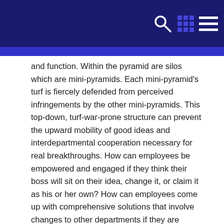[Navigation bar with search, grid, and menu icons]
and function. Within the pyramid are silos which are mini-pyramids. Each mini-pyramid's turf is fiercely defended from perceived infringements by the other mini-pyramids. This top-down, turf-war-prone structure can prevent the upward mobility of good ideas and interdepartmental cooperation necessary for real breakthroughs. How can employees be empowered and engaged if they think their boss will sit on their idea, change it, or claim it as his or her own? How can employees come up with comprehensive solutions that involve changes to other departments if they are perceived as "off-limits?"
2. Compensation: Most corporations today pay a